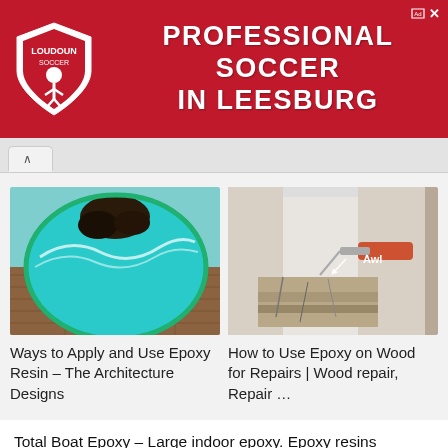[Figure (photo): Red advertisement banner for Loudoun Soccer – Professional Soccer in Leesburg, with shield logo on left]
[Figure (photo): Round epoxy resin table with teal ocean wave design on wooden floor]
Ways to Apply and Use Epoxy Resin – The Architecture Designs
[Figure (photo): Person using an awl tool on cracked white wood column base for repair]
How to Use Epoxy on Wood for Repairs | Wood repair, Repair …
Total Boat Epoxy – Large indoor epoxy. Epoxy resins are used create high-gloss coatings for everything from wooden tablet bar counters. Defy Epoxy Wood Stain is a specially formulated semi-